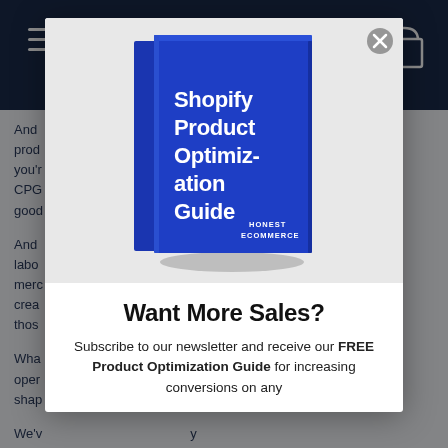[Figure (screenshot): Background webpage with dark navy navigation bar, hamburger menu icon on left, shopping bag icon on right, and body text on light blue-grey background partially visible behind the modal overlay. Text fragments visible: 'And', 'prod', 'you'r', 'CPG', 'good', 'And', 'labo', 'merc', 'crea', 'thos', 'Wha', 'oper', 'shap', 'We'v', 'for p', 'reall']
[Figure (illustration): Blue book with white text reading 'Shopify Product Optimization Guide' and 'HONEST ECOMMERCE' at bottom, displayed on light grey background inside modal]
Want More Sales?
Subscribe to our newsletter and receive our FREE Product Optimization Guide for increasing conversions on any